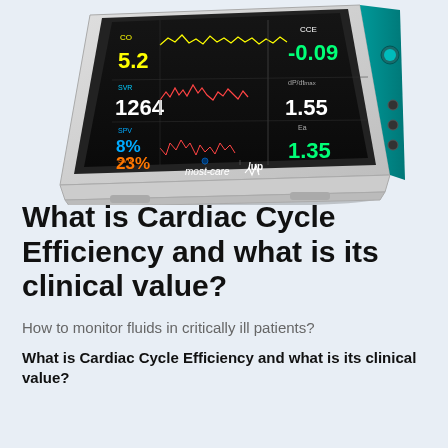[Figure (photo): A medical monitoring device (MostCare UP) showing a black screen display with multiple hemodynamic parameters including CO: 5.2, CCE: -0.09, SVR: 1264, dP/dt: 1.55, SPV: 8%, SVV: 23%, Ea: 1.35, along with waveform tracings. The device has a white/grey casing with teal colored side panel and buttons.]
What is Cardiac Cycle Efficiency and what is its clinical value?
How to monitor fluids in critically ill patients?
What is Cardiac Cycle Efficiency and what is its clinical value?